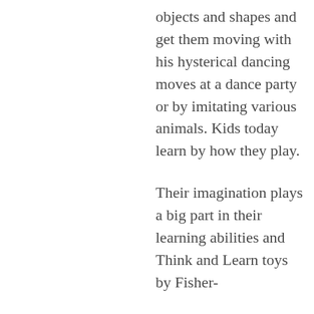objects and shapes and get them moving with his hysterical dancing moves at a dance party or by imitating various animals. Kids today learn by how they play.
Their imagination plays a big part in their learning abilities and Think and Learn toys by Fisher-